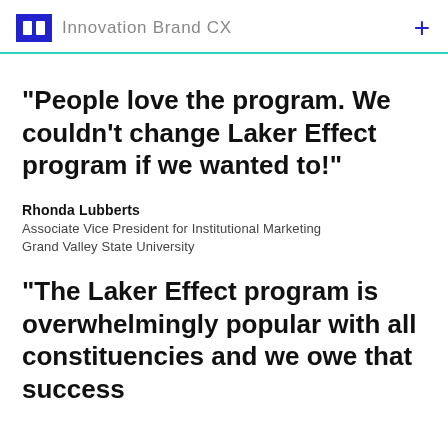Innovation Brand CX
“People love the program. We couldn't change Laker Effect program if we wanted to!”
Rhonda Lubberts
Associate Vice President for Institutional Marketing
Grand Valley State University
“The Laker Effect program is overwhelmingly popular with all constituencies and we owe that success